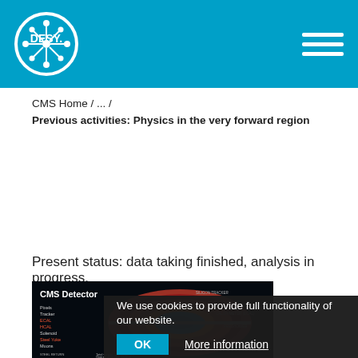DESY CMS Home / ... / Previous activities: Physics in the very forward region
CMS Home / ... /
Previous activities: Physics in the very forward region
Present status: data taking finished, analysis in progress.
[Figure (photo): CMS Detector diagram showing cross-section with labeled components: Pixels, Tracker, ECAL, HCAL, Solenoid, Steel Yoke, Muons, Silicon Tracker, Crystal Electromagnetic Calorimeter, Preshower, Hadron Calorimeter, Muon Chambers]
We use cookies to provide full functionality of our website.
OK   More information